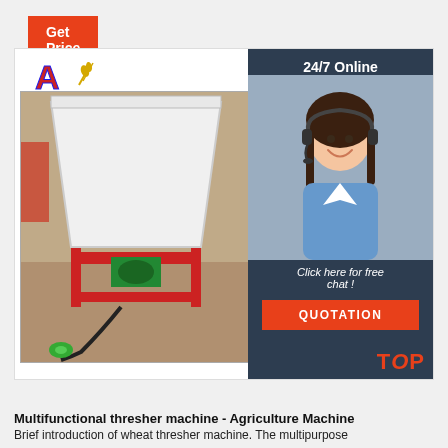[Figure (other): Orange 'Get Price' button]
[Figure (photo): Product listing page showing two photos of a multifunctional thresher machine on red metal frame. Left photo shows full machine with power cord and green switch. Right photo shows machine from different angle. Overlaid in top-left is a company logo (letter A with wheat). On the right side is a dark navy blue panel showing '24/7 Online' text, a smiling woman with headset, 'Click here for free chat!' text, an orange 'QUOTATION' button, and orange 'TOP' text at bottom right.]
Multifunctional thresher machine - Agriculture Machine
Brief introduction of wheat thresher machine. The multipurpose